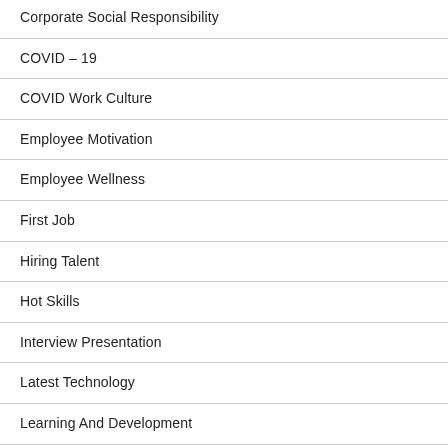Corporate Social Responsibility
COVID – 19
COVID Work Culture
Employee Motivation
Employee Wellness
First Job
Hiring Talent
Hot Skills
Interview Presentation
Latest Technology
Learning And Development
Loyalty Program